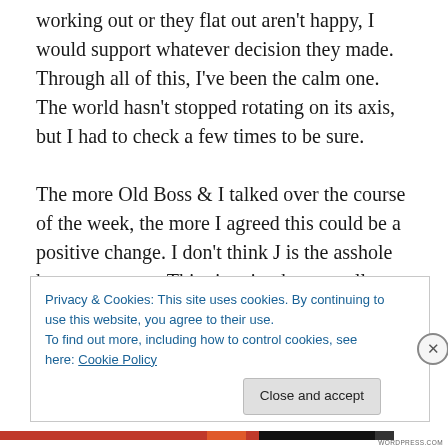working out or they flat out aren't happy, I would support whatever decision they made. Through all of this, I've been the calm one. The world hasn't stopped rotating on its axis, but I had to check a few times to be sure.

The more Old Boss & I talked over the course of the week, the more I agreed this could be a positive change. I don't think J is the asshole he came across. This situation has actually brought out the best in me. I haven't thrown a temper tantrum. I've been the one encouraging everyone else to be open minded & give it time. I'm prepared to talk
Privacy & Cookies: This site uses cookies. By continuing to use this website, you agree to their use.
To find out more, including how to control cookies, see here: Cookie Policy